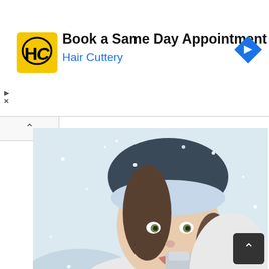[Figure (other): Advertisement banner: Hair Cuttery logo (yellow square with HC text), 'Book a Same Day Appointment' heading, 'Hair Cuttery' subtext in blue, blue diamond navigation arrow icon on right]
[Figure (photo): Winter fashion photo of a young woman wearing a fur hat and fur coat, holding a gloved finger to her lips, with snow falling around her]
girl-fashion-photo-winter-snow-snowflakes-wallpaper-1680x1050
[Figure (photo): Fantasy winter night scene with a tall castle/tower, windmill, silhouetted bare trees, birds in flight, and a deep blue snowy sky with snowflakes]